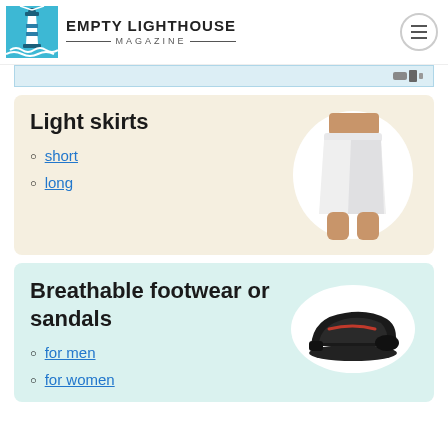EMPTY LIGHTHOUSE MAGAZINE
Light skirts
short
long
[Figure (photo): Woman wearing a white light skirt, shown from waist to knees, inside a white circle on beige background]
Breathable footwear or sandals
for men
for women
[Figure (photo): Black slip-on sneaker shoe shown on a light oval/white ellipse background in mint card]